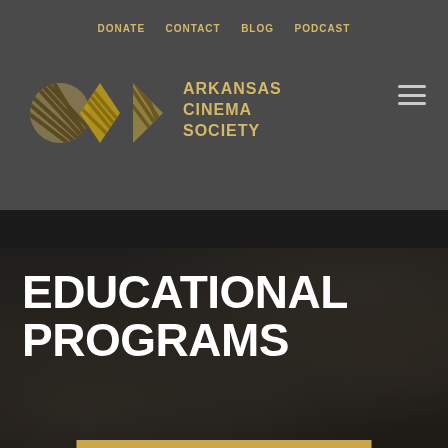DONATE  CONTACT  BLOG  PODCAST
[Figure (logo): Arkansas Cinema Society logo with geometric diamond/triangle shapes in gold and a striped circular element, alongside the text ARKANSAS CINEMA SOCIETY]
EDUCATIONAL PROGRAMS